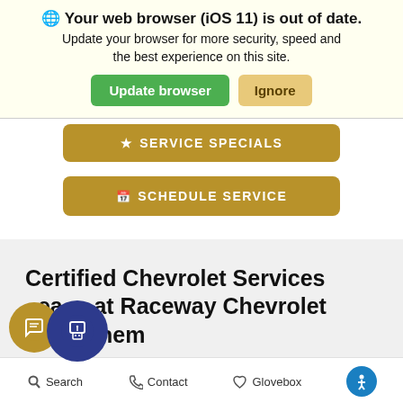🌐 Your web browser (iOS 11) is out of date. Update your browser for more security, speed and the best experience on this site.
Update browser | Ignore
★ SERVICE SPECIALS
📅 SCHEDULE SERVICE
Certified Chevrolet Services area at Raceway Chevrolet of Bethlehem
Search   Contact   Glovebox   [accessibility icon]